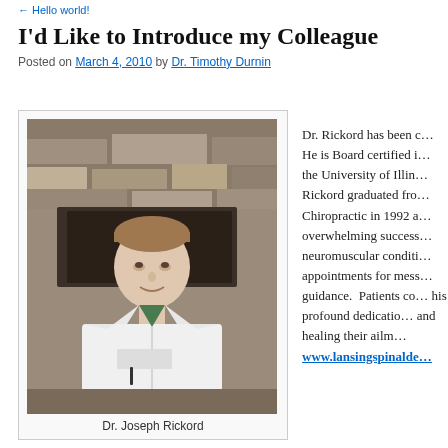← Hello world!
I'd Like to Introduce my Colleague
Posted on March 4, 2010 by Dr. Timothy Durnin
[Figure (photo): Dr. Joseph Rickord seated in a white lab coat in front of a stone fireplace]
Dr. Joseph Rickord
Dr. Rickord has been c… He is Board certified i… the University of Illin… Rickord graduated fro… Chiropractic in 1992 a… overwhelming success… neuromuscular conditi… appointments for mess… guidance.  Patients co… his profound dedicatio… and healing their ailm… www.lansingspinalde…